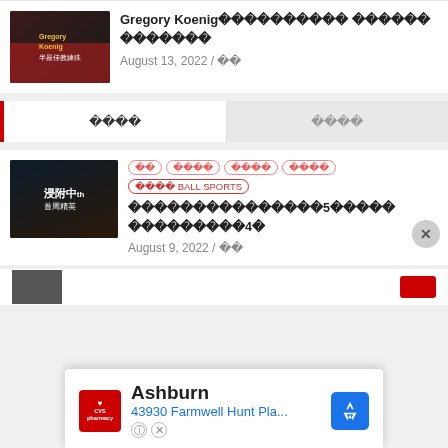[Figure (screenshot): News article card with thumbnail showing Gregory Koenig article dated August 13, 2022]
Gregory Koenig󾔮󾔮󾔮󾔮󾔮󾔮󾔮󾔮󾔮󾔮 󾔮󾔮󾔮󾔮󾔮󾔮
󾔮󾔮󾔮󾔮󾔮󾔮󾔮
August 13, 2022 / 󾔮󾔮
󾔮󾔮󾔮󾔮	󾔮󾔮󾔮󾔮
󾔮󾔮	󾔮󾔮󾔮󾔮	󾔮󾔮󾔮󾔮	󾔮󾔮󾔮󾔮	󾔮󾔮󾔮󾔮 BALL SPORTS
󾔮󾔮󾔮󾔮󾔮󾔮󾔮󾔮󾔮󾔮󾔮󾔮󾔮󾔮󾔮5󾔮󾔮󾔮󾔮󾔮 󾔮󾔮󾔮󾔮󾔮󾔮󾔮󾔮󾔮4󾔮
August 9, 2022 / 󾔮󾔮
Ashburn
43930 Farmwell Hunt Pla...